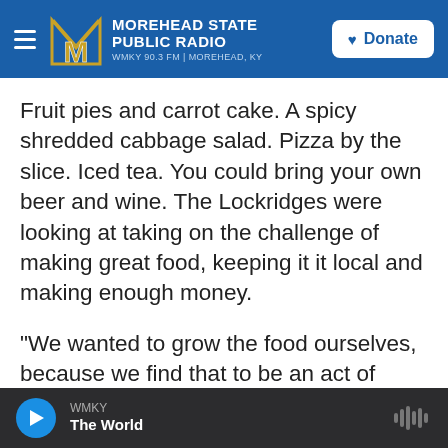MOREHEAD STATE PUBLIC RADIO WMKY 90.3 FM | MOREHEAD, KY [Donate]
Fruit pies and carrot cake. A spicy shredded cabbage salad. Pizza by the slice. Iced tea. You could bring your own beer and wine. The Lockridges were looking at taking on the challenge of making great food, keeping it it local and making enough money.
"We wanted to grow the food ourselves, because we find that to be an act of prayer, an act of making sense in a world that sometimes doesn't make sense. It involves our bodies and it grounds us in a good way," says Robert.
WMKY The World